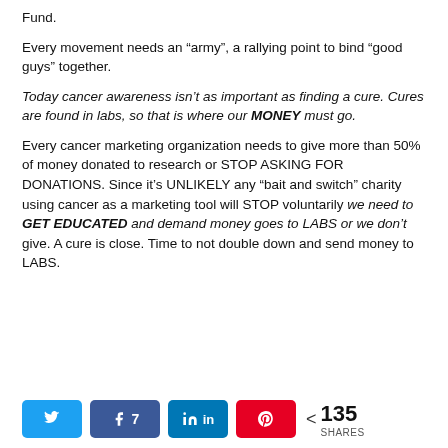Fund.
Every movement needs an “army”, a rallying point to bind “good guys” together.
Today cancer awareness isn’t as important as finding a cure. Cures are found in labs, so that is where our MONEY must go.
Every cancer marketing organization needs to give more than 50% of money donated to research or STOP ASKING FOR DONATIONS. Since it’s UNLIKELY any “bait and switch” charity using cancer as a marketing tool will STOP voluntarily we need to GET EDUCATED and demand money goes to LABS or we don’t give. A cure is close. Time to not double down and send money to LABS.
[Figure (infographic): Social sharing bar with Twitter, Facebook (7 shares), LinkedIn, Pinterest buttons, and a total of 135 SHARES count]